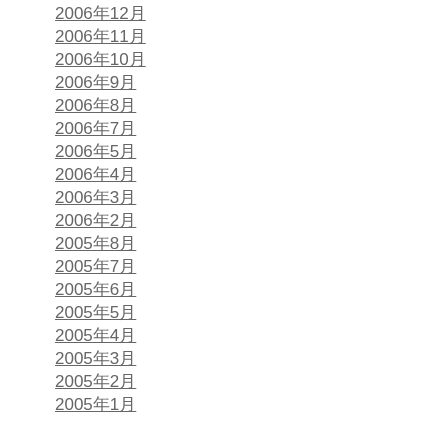2006年12月
2006年11月
2006年10月
2006年9月
2006年8月
2006年7月
2006年5月
2006年4月
2006年3月
2006年2月
2005年8月
2005年7月
2005年6月
2005年5月
2005年4月
2005年3月
2005年2月
2005年1月